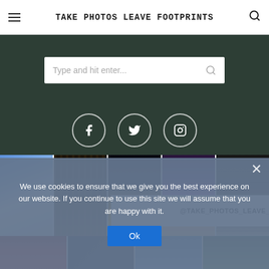TAKE PHOTOS LEAVE FOOTPRINTS
[Figure (screenshot): Search bar with placeholder text 'Type and hit enter...' on dark green background]
[Figure (other): Social media icons: Facebook, Twitter, Instagram circles on dark green background]
[Figure (photo): Grid of travel photos: snow mountains, ancient architecture, illuminated temple, city skyline at dusk, interior window]
@TAKE_PHOTOS_LEAVE_FOOTPRINTS
We use cookies to ensure that we give you the best experience on our website. If you continue to use this site we will assume that you are happy with it.